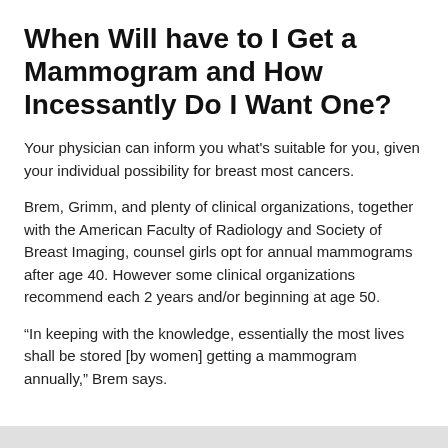When Will have to I Get a Mammogram and How Incessantly Do I Want One?
Your physician can inform you what’s suitable for you, given your individual possibility for breast most cancers.
Brem, Grimm, and plenty of clinical organizations, together with the American Faculty of Radiology and Society of Breast Imaging, counsel girls opt for annual mammograms after age 40. However some clinical organizations recommend each 2 years and/or beginning at age 50.
“In keeping with the knowledge, essentially the most lives shall be stored [by women] getting a mammogram annually,” Brem says.